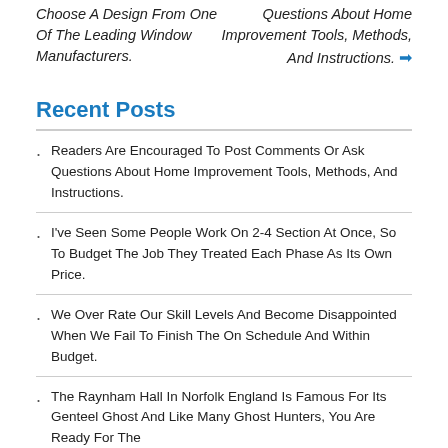Choose A Design From One Of The Leading Window Manufacturers.
Questions About Home Improvement Tools, Methods, And Instructions. →
Recent Posts
Readers Are Encouraged To Post Comments Or Ask Questions About Home Improvement Tools, Methods, And Instructions.
I've Seen Some People Work On 2-4 Section At Once, So To Budget The Job They Treated Each Phase As Its Own Price.
We Over Rate Our Skill Levels And Become Disappointed When We Fail To Finish The On Schedule And Within Budget.
The Raynham Hall In Norfolk England Is Famous For Its Genteel Ghost And Like Many Ghost Hunters, You Are Ready For The